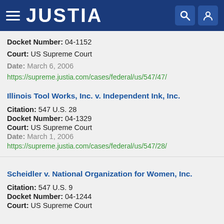JUSTIA
Docket Number: 04-1152
Court: US Supreme Court
Date: March 6, 2006
https://supreme.justia.com/cases/federal/us/547/47/
Illinois Tool Works, Inc. v. Independent Ink, Inc.
Citation: 547 U.S. 28
Docket Number: 04-1329
Court: US Supreme Court
Date: March 1, 2006
https://supreme.justia.com/cases/federal/us/547/28/
Scheidler v. National Organization for Women, Inc.
Citation: 547 U.S. 9
Docket Number: 04-1244
Court: US Supreme Court